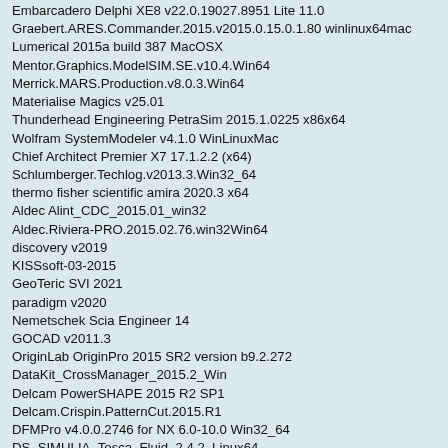Embarcadero Delphi XE8 v22.0.19027.8951 Lite 11.0
Graebert.ARES.Commander.2015.v2015.0.15.0.1.80 winlinux64mac
Lumerical 2015a build 387 MacOSX
Mentor.Graphics.ModelSIM.SE.v10.4.Win64
Merrick.MARS.Production.v8.0.3.Win64
Materialise Magics v25.01
Thunderhead Engineering PetraSim 2015.1.0225 x86x64
Wolfram SystemModeler v4.1.0 WinLinuxMac
Chief Architect Premier X7 17.1.2.2 (x64)
Schlumberger.Techlog.v2013.3.Win32_64
thermo fisher scientific amira 2020.3 x64
Aldec Alint_CDC_2015.01_win32
Aldec.Riviera-PRO.2015.02.76.win32Win64
discovery v2019
KISSsoft-03-2015
GeoTeric SVI 2021
paradigm v2020
Nemetschek Scia Engineer 14
GOCAD v2011.3
OriginLab OriginPro 2015 SR2 version b9.2.272
DataKit_CrossManager_2015.2_Win
Delcam PowerSHAPE 2015 R2 SP1
Delcam.Crispin.PatternCut.2015.R1
DFMPro v4.0.0.2746 for NX 6.0-10.0 Win32_64
DS_SIMULIA_Tosca_Fluid_2.4.2_Linux64